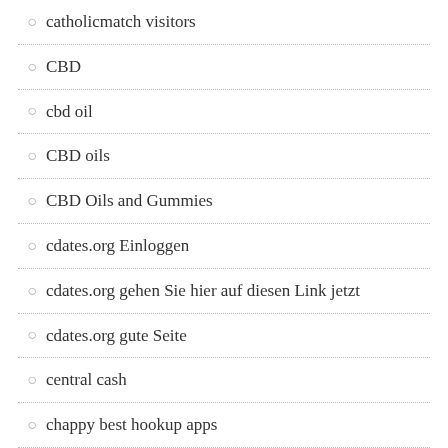catholicmatch visitors
CBD
cbd oil
CBD oils
CBD Oils and Gummies
cdates.org Einloggen
cdates.org gehen Sie hier auf diesen Link jetzt
cdates.org gute Seite
central cash
chappy best hookup apps
Chapter 13 Payday Loans
charmdate app